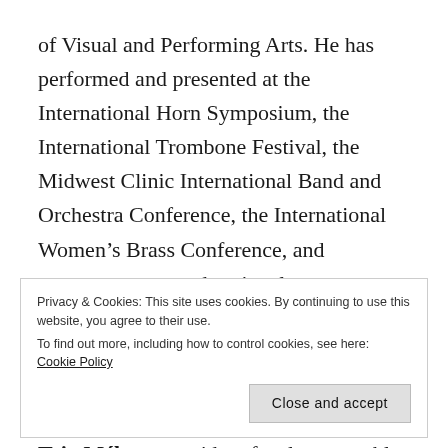of Visual and Performing Arts. He has performed and presented at the International Horn Symposium, the International Trombone Festival, the Midwest Clinic International Band and Orchestra Conference, the International Women's Brass Conference, and numerous state and regional events. Boldin is proud to be a Yamaha Performing Artist, and performs on a variety of Yamaha horns. He performs extensively with Black Bayou Brass and Trio Mélange, resident faculty ensembles at ULM, and has given recitals and
Privacy & Cookies: This site uses cookies. By continuing to use this website, you agree to their use.
To find out more, including how to control cookies, see here: Cookie Policy
Close and accept